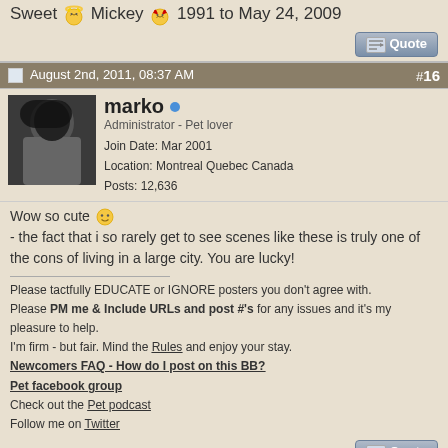Sweet [angel emoji] Mickey [devil emoji] 1991 to May 24, 2009
[Figure (screenshot): Quote button]
August 2nd, 2011, 08:37 AM  #16
[Figure (photo): Avatar of user marko, dark photo]
marko - Administrator - Pet lover. Join Date: Mar 2001. Location: Montreal Quebec Canada. Posts: 12,636
Wow so cute :) - the fact that i so rarely get to see scenes like these is truly one of the cons of living in a large city. You are lucky!
Please tactfully EDUCATE or IGNORE posters you don't agree with.
Please PM me & Include URLs and post #'s for any issues and it's my pleasure to help.
I'm firm - but fair. Mind the Rules and enjoy your stay.
Newcomers FAQ - How do I post on this BB?
Pet facebook group
Check out the Pet podcast
Follow me on Twitter
[Figure (screenshot): Quote button]
August 2nd, 2011, 06:49 PM  #17